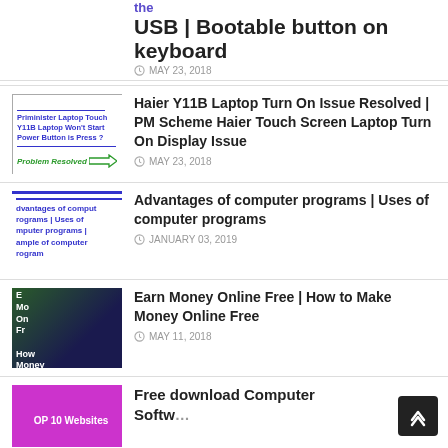USB | Bootable button on keyboard
MAY 23, 2018
[Figure (screenshot): Thumbnail for Haier Y11B Laptop article with text and arrow graphic]
Haier Y11B Laptop Turn On Issue Resolved | PM Scheme Haier Touch Screen Laptop Turn On Display Issue
MAY 23, 2018
[Figure (screenshot): Thumbnail for Advantages of computer programs article with blue border]
Advantages of computer programs | Uses of computer programs
JANUARY 03, 2019
[Figure (photo): Thumbnail showing money and laptop for Earn Money Online article]
Earn Money Online Free | How to Make Money Online Free
MAY 11, 2018
[Figure (screenshot): Purple thumbnail with text OP 10 Websites]
Free download Computer Software